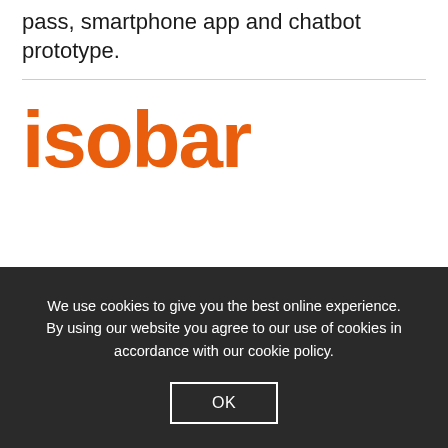pass, smartphone app and chatbot prototype.
[Figure (logo): Isobar logo in orange bold sans-serif text]
We use cookies to give you the best online experience. By using our website you agree to our use of cookies in accordance with our cookie policy.
OK